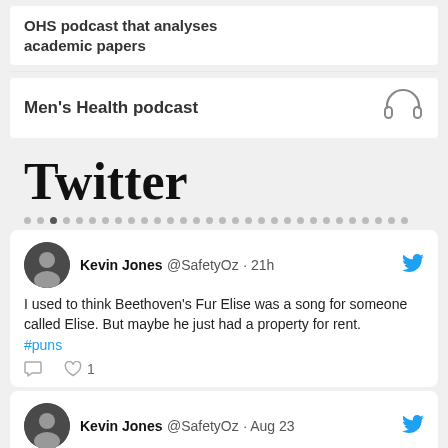OHS podcast that analyses academic papers
Men's Health podcast
Twitter
Kevin Jones @SafetyOz · 21h
I used to think Beethoven's Fur Elise was a song for someone called Elise.  But maybe he just had a property for rent.
#puns
♡ 1
Kevin Jones @SafetyOz · Aug 23
This cartoon reflects many of my concerns